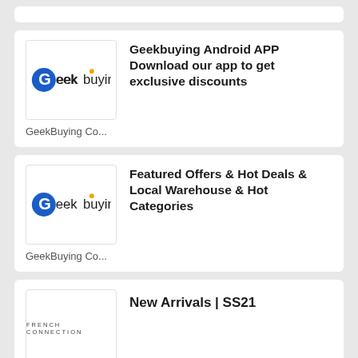[Figure (other): Partial white card at top (clipped)]
[Figure (logo): Geekbuying logo - blue circle with G, 'eekbuying' text, orange dot accent]
Geekbuying Android APP Download our app to get exclusive discounts
GeekBuying Co...
[Figure (logo): Geekbuying logo - blue circle with G, 'eekbuying' text, orange dot accent]
Featured Offers & Hot Deals & Local Warehouse & Hot Categories
GeekBuying Co...
[Figure (logo): French Connection text logo in small caps]
New Arrivals | SS21
French Connecti...
[Figure (other): Partial white card at bottom (clipped)]